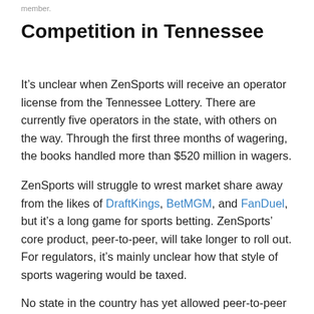member.
Competition in Tennessee
It’s unclear when ZenSports will receive an operator license from the Tennessee Lottery. There are currently five operators in the state, with others on the way. Through the first three months of wagering, the books handled more than $520 million in wagers.
ZenSports will struggle to wrest market share away from the likes of DraftKings, BetMGM, and FanDuel, but it’s a long game for sports betting. ZenSports’ core product, peer-to-peer, will take longer to roll out. For regulators, it’s mainly unclear how that style of sports wagering would be taxed.
No state in the country has yet allowed peer-to-peer sports